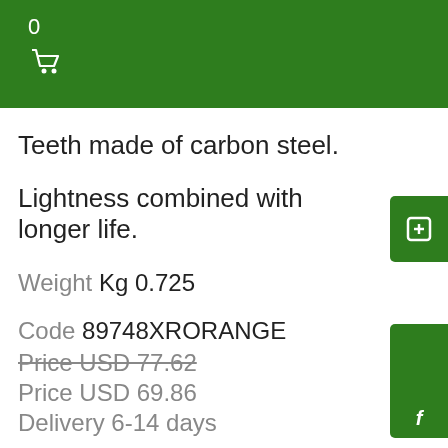0
Teeth made of carbon steel.
Lightness combined with longer life.
Weight Kg 0.725
Code 89748XRORANGE
Price USD 77.62
Price USD 69.86
Delivery 6-14 days